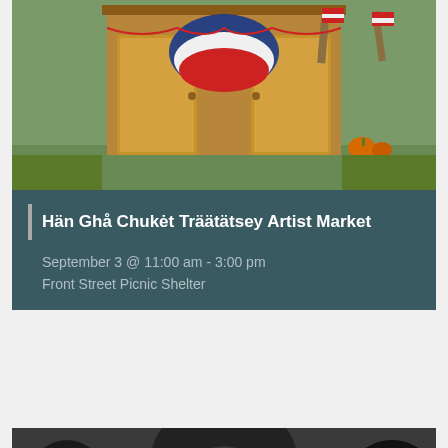[Figure (photo): Wooden booth or market stall decorated with patriotic red, white and blue bunting and American flags outdoors on grass]
Hän Ghå Chukėt Träätätsey Artist Market
September 3 @ 11:00 am - 3:00 pm
Front Street Picnic Shelter
[Figure (infographic): Infographic for Free Info Session with Government of Yukon for Express Micro-Grant, Thursday Sep. 8 6:30PM - KIAC, on dark background with tech/music equipment]
Free Info Session: New 'Express Micro-Grant' for Artists & Creatives